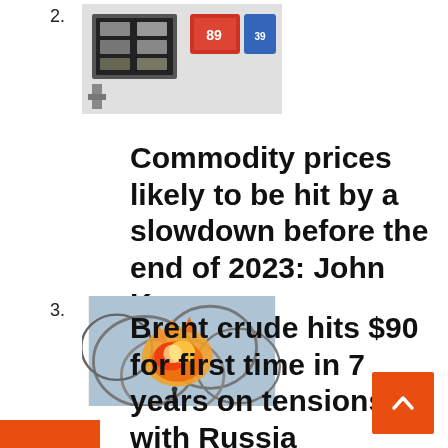2.
[Figure (photo): Thumbnail photo of a gas station price display with fuel pump]
Commodity prices likely to be hit by a slowdown before the end of 2023: John Kemp
3.
[Figure (photo): Thumbnail photo of fire against barbed wire fence]
Brent crude hits $90 for first time in 7 years on tensions with Russia